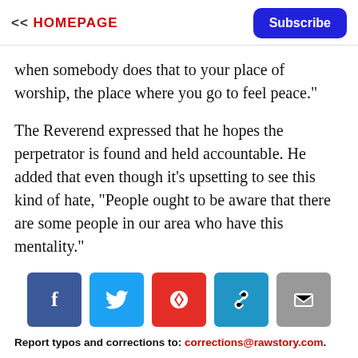<< HOMEPAGE | Subscribe
when somebody does that to your place of worship, the place where you go to feel peace."
The Reverend expressed that he hopes the perpetrator is found and held accountable. He added that even though it's upsetting to see this kind of hate, "People ought to be aware that there are some people in our area who have this mentality."
[Figure (infographic): Social share buttons: Facebook (dark blue), Twitter (light blue), Flipboard (red), Link/copy (blue), Email (gray)]
Report typos and corrections to: corrections@rawstory.com